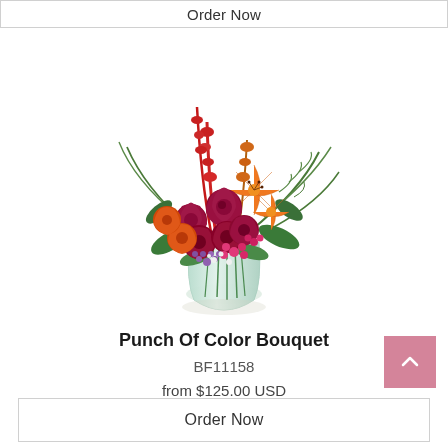Order Now
[Figure (photo): Punch Of Color Bouquet - a floral arrangement in a clear glass vase featuring red and orange roses, orange lilies, red snapdragons, pink accent flowers, purple waxflower, and green fern fronds.]
Punch Of Color Bouquet
BF11158
from $125.00 USD
Order Now